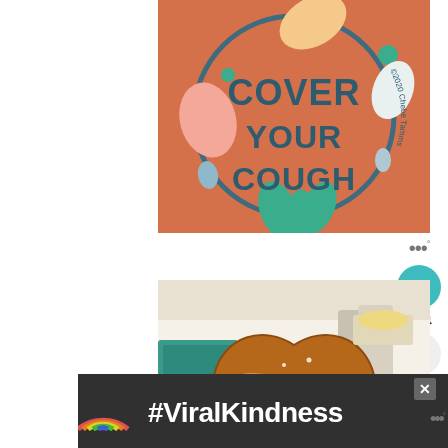[Figure (illustration): Cover Your Cough graphic: orange circular badge with decorative botanical shapes in teal, pink, and yellow. Text reads 'COVER YOUR COUGH' in dark teal lettering. Copyright '2020 Chebe Tamms' along the right edge of the circle.]
[Figure (photo): Food photo of a large salted pretzel in a basket with parchment paper, served with a small cup of yellow cheese dipping sauce. Salt and pepper shakers visible in background on a restaurant table with teal napkin.]
[Figure (infographic): #ViralKindness promotional banner with dark background, rainbow graphic on the left, and hashtag #ViralKindness in large white/pink text. An X close button in gray square is visible.]
964
WHAT'S NEXT → Fourth Street BBQ Review...